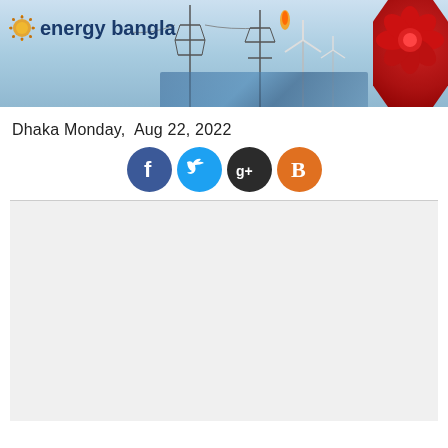[Figure (illustration): Energy Bangla website header banner showing energy transmission towers, wind turbines, solar panels, and a gas flame against a sky background. Logo reads 'energy bangla' on the left with a sun/gear icon, and a red flower badge on the right.]
Dhaka Monday,  Aug 22, 2022
[Figure (illustration): Four social media icons in a row: Facebook (blue circle with f), Twitter (blue circle with bird), Google+ (dark circle with g+), Blogger (orange circle with B)]
[Figure (other): Empty light gray content area below horizontal divider line]